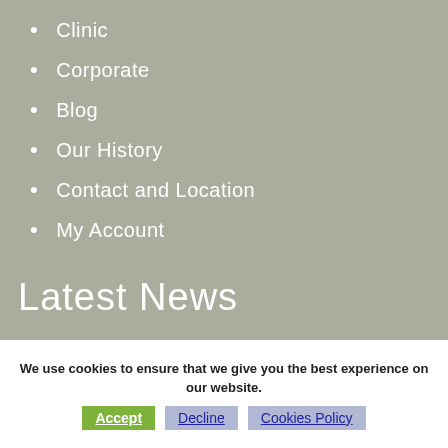Clinic
Corporate
Blog
Our History
Contact and Location
My Account
Latest News
We use cookies to ensure that we give you the best experience on our website.
Accept  Decline  Cookies Policy